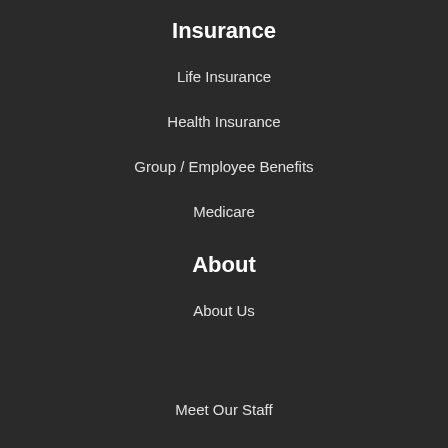Insurance
Life Insurance
Health Insurance
Group / Employee Benefits
Medicare
About
About Us
Meet Our Staff